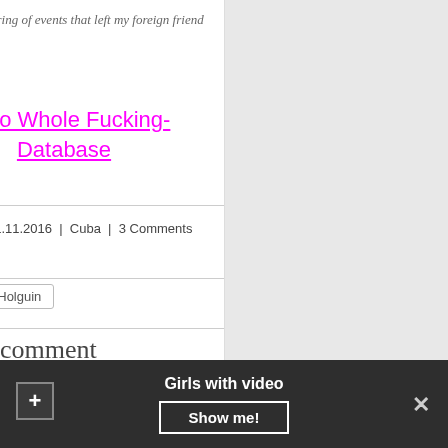passionate string of events that left my foreign friend dazzled.
Go to Whole Fucking-Database
By admin | 11.11.2016 | Cuba | 3 Comments |
Prostitute in Holguin
Leave a comment
Girls with video
Show me!